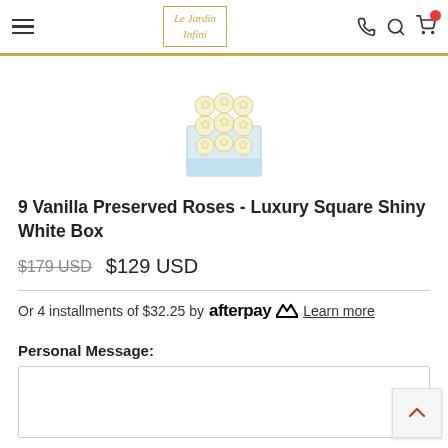Le Jardin Infini - navigation header with hamburger menu, logo, phone, search, and cart icons
[Figure (photo): Product photo: 9 cream/vanilla preserved roses arranged in a 3x3 grid inside a shiny white square box, viewed from slightly above]
9 Vanilla Preserved Roses - Luxury Square Shiny White Box
$179 USD   $129 USD
Or 4 installments of $32.25 by afterpay   Learn more
Personal Message: